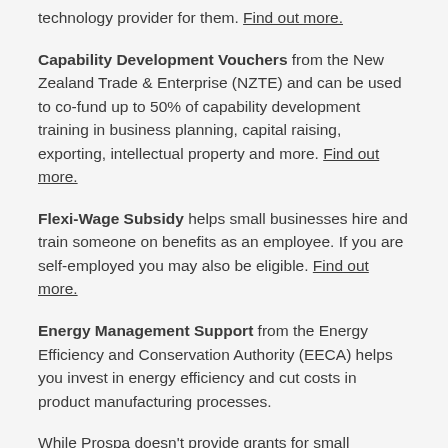technology provider for them. Find out more.
Capability Development Vouchers from the New Zealand Trade & Enterprise (NZTE) and can be used to co-fund up to 50% of capability development training in business planning, capital raising, exporting, intellectual property and more. Find out more.
Flexi-Wage Subsidy helps small businesses hire and train someone on benefits as an employee. If you are self-employed you may also be eligible. Find out more.
Energy Management Support from the Energy Efficiency and Conservation Authority (EECA) helps you invest in energy efficiency and cut costs in product manufacturing processes.
While Prospa doesn't provide grants for small businesses, you can talk to us about a small business loan for business